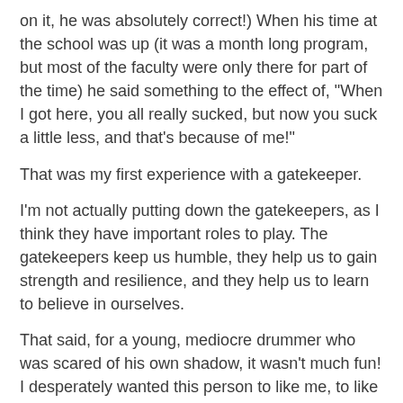on it, he was absolutely correct!) When his time at the school was up (it was a month long program, but most of the faculty were only there for part of the time) he said something to the effect of, "When I got here, you all really sucked, but now you suck a little less, and that's because of me!"
That was my first experience with a gatekeeper.
I'm not actually putting down the gatekeepers, as I think they have important roles to play. The gatekeepers keep us humble, they help us to gain strength and resilience, and they help us to learn to believe in ourselves.
That said, for a young, mediocre drummer who was scared of his own shadow, it wasn't much fun! I desperately wanted this person to like me, to like my playing, to acknowledge me as one of "the cats". As someone who was the product of a broken marriage and who's father lived in a different city than me, I'm sure there were some "daddy issues" in there as well. So, in other words, I wanted this person who had just met me, didn't like my playing, probably thought I hadn't done any work to learn the drums or the music it was involved in; I wanted him to sooth my bruised, fragile ego...